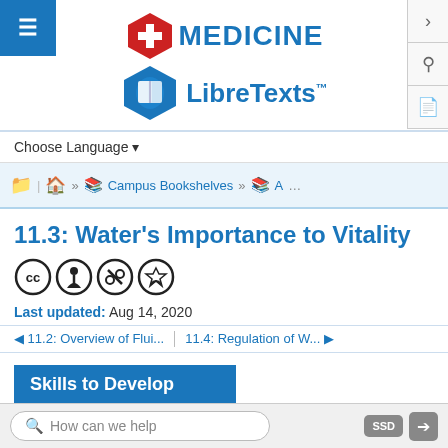[Figure (logo): Medicine LibreTexts logo with red hexagon cross and blue book hexagon]
Choose Language ▾
🏠 Home » Campus Bookshelves » A ...
11.3: Water's Importance to Vitality
[Figure (other): Creative Commons license icons: CC, BY, NC, SA]
Last updated: Aug 14, 2020
◄ 11.2: Overview of Flui... | 11.4: Regulation of W... ►
Skills to Develop
How can we help